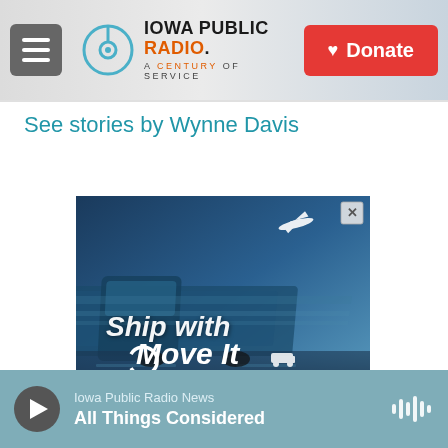Iowa Public Radio. A Century of Service. Donate
See stories by Wynne Davis
[Figure (screenshot): Advertisement banner for 'Ship with Move It' showing a blue-tinted truck in motion]
Iowa Public Radio News — All Things Considered